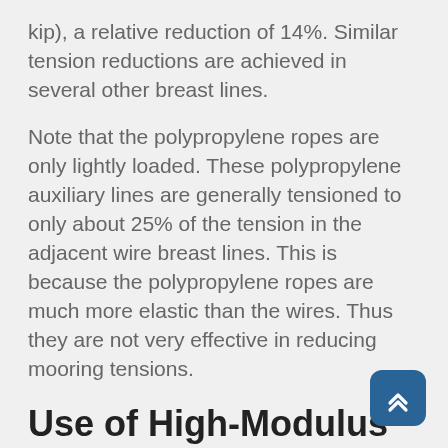kip), a relative reduction of 14%. Similar tension reductions are achieved in several other breast lines.
Note that the polypropylene ropes are only lightly loaded. These polypropylene auxiliary lines are generally tensioned to only about 25% of the tension in the adjacent wire breast lines. This is because the polypropylene ropes are much more elastic than the wires. Thus they are not very effective in reducing mooring tensions.
Use of High-Modulus Fibre Ropes
High performance fibre ropes are now sometimes used for mooring lines. The fibres contained therein...